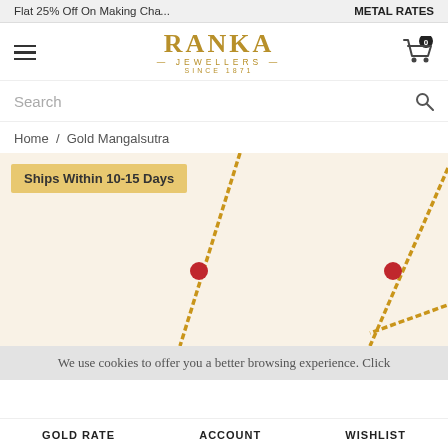Flat 25% Off On Making Cha... | METAL RATES
[Figure (logo): Ranka Jewellers logo with hamburger menu and cart icon]
Search
Home / Gold Mangalsutra
[Figure (photo): Gold Mangalsutra product image with two gold chains and red beads on cream background, Ships Within 10-15 Days badge]
We use cookies to offer you a better browsing experience. Click
GOLD RATE | ACCOUNT | WISHLIST